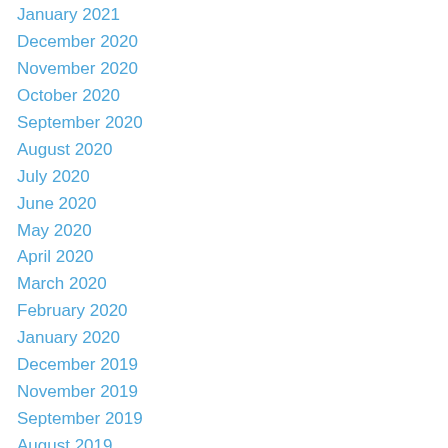January 2021
December 2020
November 2020
October 2020
September 2020
August 2020
July 2020
June 2020
May 2020
April 2020
March 2020
February 2020
January 2020
December 2019
November 2019
September 2019
August 2019
July 2019
June 2019
May 2019